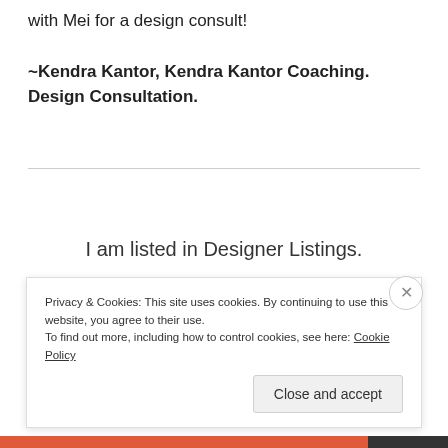with Mei for a design consult!
~Kendra Kantor, Kendra Kantor Coaching. Design Consultation.
I am listed in Designer Listings.
All elements, graphics and content are
Privacy & Cookies: This site uses cookies. By continuing to use this website, you agree to their use.
To find out more, including how to control cookies, see here: Cookie Policy
Close and accept